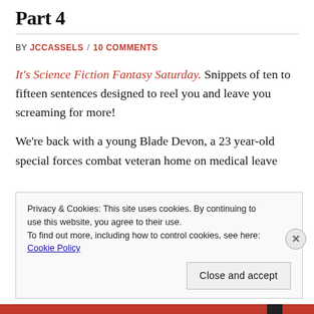Part 4
BY JCCASSELS / 10 COMMENTS
It's Science Fiction Fantasy Saturday. Snippets of ten to fifteen sentences designed to reel you and leave you screaming for more!
We're back with a young Blade Devon, a 23 year-old special forces combat veteran home on medical leave
Privacy & Cookies: This site uses cookies. By continuing to use this website, you agree to their use.
To find out more, including how to control cookies, see here: Cookie Policy
Close and accept